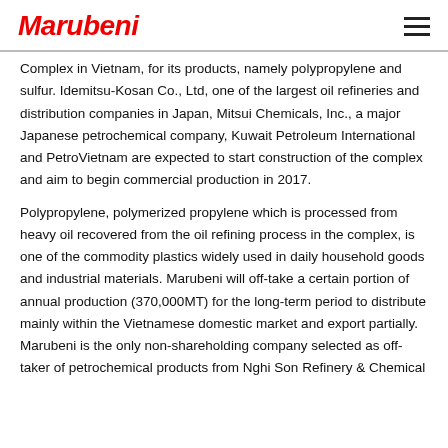Marubeni
Complex in Vietnam, for its products, namely polypropylene and sulfur. Idemitsu-Kosan Co., Ltd, one of the largest oil refineries and distribution companies in Japan, Mitsui Chemicals, Inc., a major Japanese petrochemical company, Kuwait Petroleum International and PetroVietnam are expected to start construction of the complex and aim to begin commercial production in 2017.
Polypropylene, polymerized propylene which is processed from heavy oil recovered from the oil refining process in the complex, is one of the commodity plastics widely used in daily household goods and industrial materials. Marubeni will off-take a certain portion of annual production (370,000MT) for the long-term period to distribute mainly within the Vietnamese domestic market and export partially. Marubeni is the only non-shareholding company selected as off-taker of petrochemical products from Nghi Son Refinery & Chemical